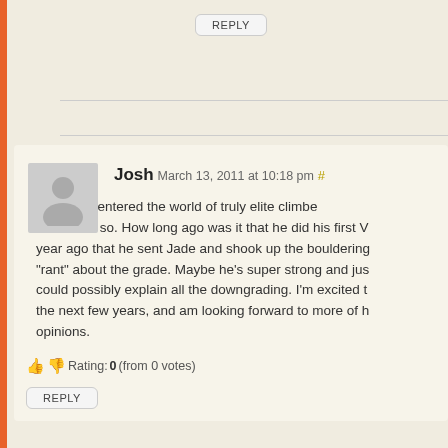REPLY
Josh March 13, 2011 at 10:18 pm #
Carlo has entered the world of truly elite climbers in the past few months or so. How long ago was it that he did his first V... year ago that he sent Jade and shook up the bouldering... "rant" about the grade. Maybe he's super strong and just... could possibly explain all the downgrading. I'm excited to... the next few years, and am looking forward to more of h... opinions.
Rating: 0 (from 0 votes)
REPLY